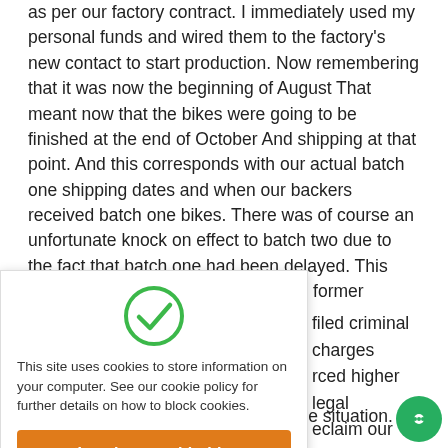as per our factory contract. I immediately used my personal funds and wired them to the factory's new contact to start production. Now remembering that it was now the beginning of August That meant now that the bikes were going to be finished at the end of October And shipping at that point. And this corresponds with our actual batch one shipping dates and when our backers received batch one bikes. There was of course an unfortunate knock on effect to batch two due to the fact that batch one had been delayed. This delay of course being caused by the former business
filed criminal charges rced higher legal eclaim our funds.
[Figure (infographic): Cookie consent overlay with green checkmark icon, cookie policy text, and orange 'I am happy with this' button]
d like to mention that H ing this whole situation.